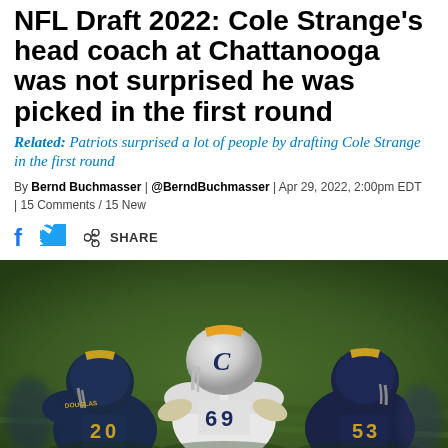NFL Draft 2022: Cole Strange's head coach at Chattanooga was not surprised he was picked in the first round
Related: Patriots surprised a lot of people by drafting Cole Strange in the first round
By Bernd Buchmasser | @BerndBuchmasser | Apr 29, 2022, 2:00pm EDT | 15 Comments / 15 New
[Figure (photo): Football game action photo showing players in Chattanooga uniforms including player #69 in the center and player #20, engaged in a line-of-scrimmage play on a grass field]